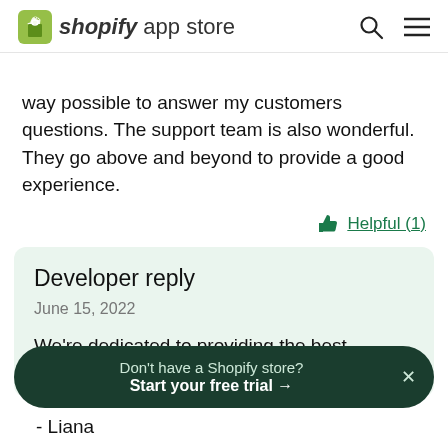shopify app store
way possible to answer my customers questions. The support team is also wonderful. They go above and beyond to provide a good experience.
Helpful (1)
Developer reply
June 15, 2022
We're dedicated to providing the best
Don't have a Shopify store? Start your free trial →
- Liana